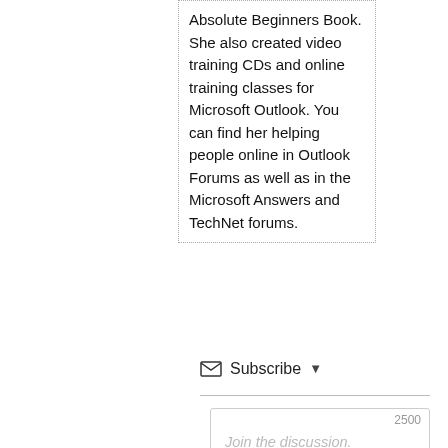Absolute Beginners Book. She also created video training CDs and online training classes for Microsoft Outlook. You can find her helping people online in Outlook Forums as well as in the Microsoft Answers and TechNet forums.
Subscribe ▾
2500
Join the discussion. (All comments are moderated.)